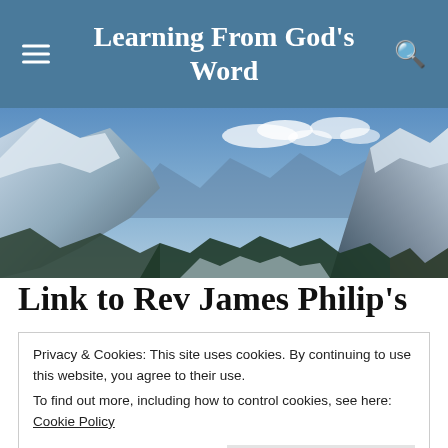Learning From God's Word
[Figure (photo): A panoramic mountain landscape with snow-capped rocky peaks, blue sky with clouds, and forested valleys.]
Link to Rev James Philip's
Privacy & Cookies: This site uses cookies. By continuing to use this website, you agree to their use.
To find out more, including how to control cookies, see here: Cookie Policy
Close and accept